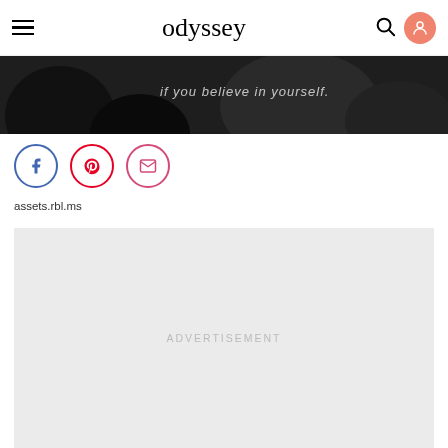odyssey
[Figure (photo): Black and white hero image strip with italic text overlay reading 'if you believe in yourself.']
[Figure (infographic): Social sharing buttons: Facebook (blue circle), Pinterest (red circle), Email/envelope (pink circle)]
assets.rbl.ms
ADVERTISEMENT